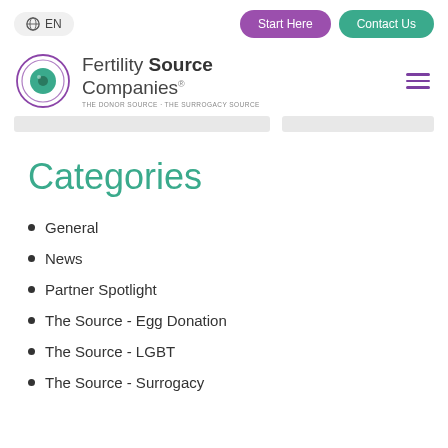EN | Start Here | Contact Us
[Figure (logo): Fertility Source Companies logo with circular eye/dot icon in purple and teal, text reads 'Fertility Source Companies® THE DONOR SOURCE · THE SURROGACY SOURCE']
Categories
General
News
Partner Spotlight
The Source - Egg Donation
The Source - LGBT
The Source - Surrogacy